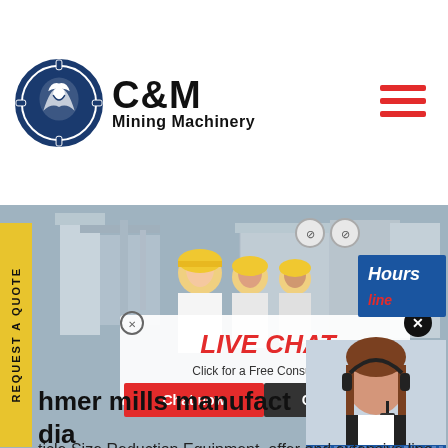[Figure (logo): C&M Mining Machinery logo — circular dark blue emblem with eagle/gear, text 'C&M' large bold, 'Mining Machinery' below]
[Figure (screenshot): Live chat popup overlay on industrial/mining website. Shows workers with yellow hard hats, 'LIVE CHAT' in red italic bold, 'Click for a Free Consultation', Chat now (red) and Chat later (dark) buttons. Right side shows female customer service agent with headset. 'Hours' and 'line' in blue side panel. X close button top right.]
REQUEST A QUOTE
hmer mills manufact
dia
ticle Size Reduction Equipment. offer and extensive line of hammer a wide variety of applications, inclu grinders, full circle screen hammer